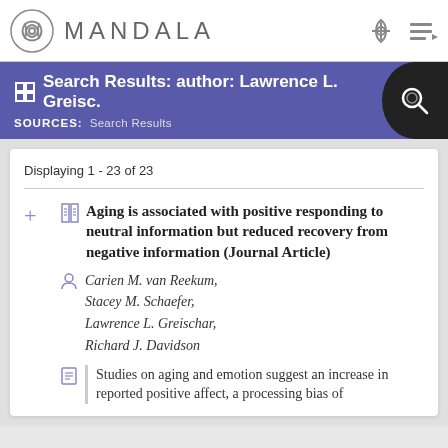MANDALA
Search Results: author: Lawrence L. Greisc.
SOURCES: Search Results
Displaying 1 - 23 of 23
Aging is associated with positive responding to neutral information but reduced recovery from negative information (Journal Article)
Carien M. van Reekum, Stacey M. Schaefer, Lawrence L. Greischar, Richard J. Davidson
Studies on aging and emotion suggest an increase in reported positive affect, a processing bias of